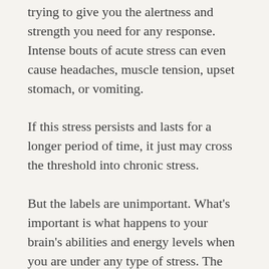trying to give you the alertness and strength you need for any response. Intense bouts of acute stress can even cause headaches, muscle tension, upset stomach, or vomiting.
If this stress persists and lasts for a longer period of time, it just may cross the threshold into chronic stress.
But the labels are unimportant. What's important is what happens to your brain's abilities and energy levels when you are under any type of stress. The brain literally rewires to be more efficient in conducting information through the circuits that are most frequently activated. When stress is frequent, these pathways can grow so strong that they